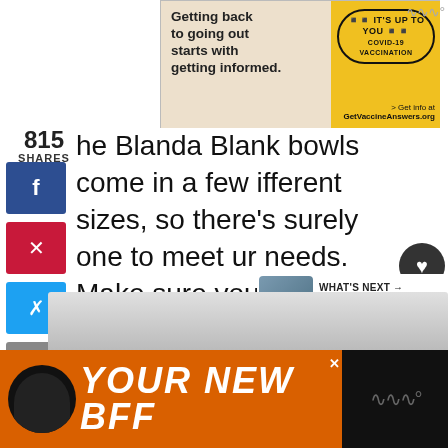[Figure (screenshot): Advertisement banner: 'Getting back to going out starts with getting informed.' with 'IT'S UP TO YOU COVID-19 VACCINATION' badge and GetVaccineAnswers.org]
815 SHARES
[Figure (infographic): Social sharing sidebar with Facebook, Pinterest, Twitter, Email, and Print icons]
The Blanda Blank bowls come in a few different sizes, so there's surely one to meet your needs. Make sure you read about how to plant in pots without drainage if you're going to do this DIY. I planted a pothos plant in mine, which is very easy to propagate and care for!
[Figure (infographic): Right side floating panel with wave icon, heart save button (819), and share button]
[Figure (infographic): WHAT'S NEXT → DIY Furniture Ideas for the... with thumbnail image]
[Figure (screenshot): Bottom advertisement banner: YOUR NEW BFF with dog image on orange/black background]